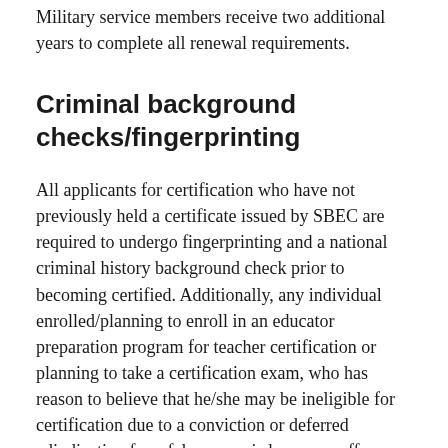Military service members receive two additional years to complete all renewal requirements.
Criminal background checks/fingerprinting
All applicants for certification who have not previously held a certificate issued by SBEC are required to undergo fingerprinting and a national criminal history background check prior to becoming certified. Additionally, any individual enrolled/planning to enroll in an educator preparation program for teacher certification or planning to take a certification exam, who has reason to believe that he/she may be ineligible for certification due to a conviction or deferred adjudication for a felony or misdemeanor offense, can ask TEA to issue a criminal history evaluation letter